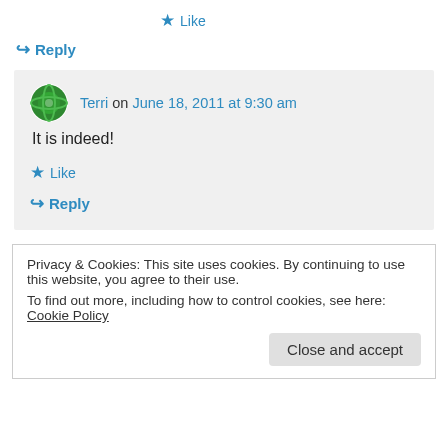★ Like
↪ Reply
Terri on June 18, 2011 at 9:30 am
It is indeed!
★ Like
↪ Reply
Privacy & Cookies: This site uses cookies. By continuing to use this website, you agree to their use.
To find out more, including how to control cookies, see here: Cookie Policy
Close and accept